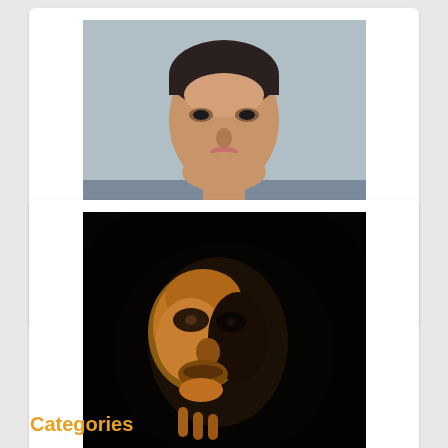[Figure (photo): Movie still from Glengarry Glen Ross showing character Blake (actor in suit with tie, mouth open, looking upward), centered in a white card]
Glengarry Glen Ross, Blake
[Figure (photo): Movie still from Apocalypse Now showing character Walter E. Kurtz (a face partially lit in darkness with a golden/amber hue), centered in a white card]
Apocalypse Now, Walter E. Kurtz
Categories